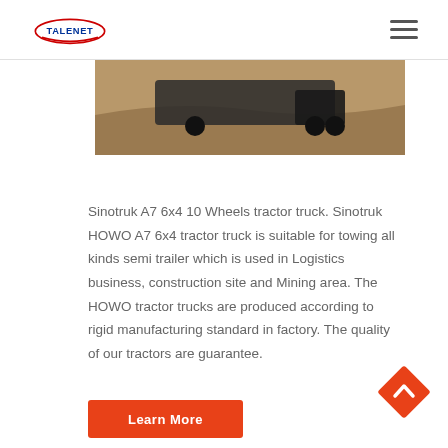TALENET
[Figure (photo): Partial view of a Sinotruk HOWO A7 tractor truck on a sandy/dirt terrain background]
Sinotruk A7 6x4 10 Wheels tractor truck. Sinotruk HOWO A7 6x4 tractor truck is suitable for towing all kinds semi trailer which is used in Logistics business, construction site and Mining area. The HOWO tractor trucks are produced according to rigid manufacturing standard in factory. The quality of our tractors are guarantee.
[Figure (other): Orange diamond-shaped back-to-top button with upward chevron arrow]